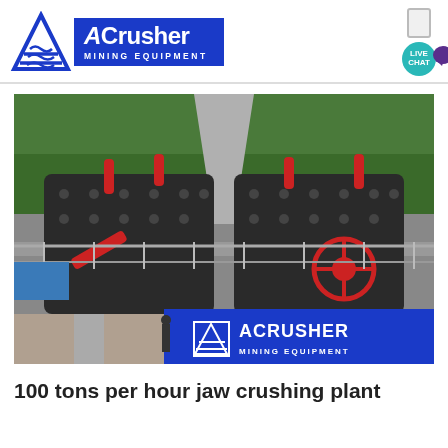[Figure (logo): ACrusher Mining Equipment logo — blue triangle with wave lines on left, blue rectangle with 'ACrusher MINING EQUIPMENT' text on right]
[Figure (photo): Industrial jaw crushing plant machinery — two large dark gray crusher machines on elevated platform with red accents and ACrusher branding sign below]
100 tons per hour jaw crushing plant